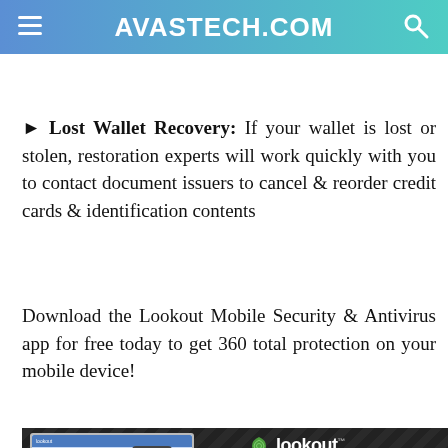AVASTECH.COM
► Lost Wallet Recovery: If your wallet is lost or stolen, restoration experts will work quickly with you to contact document issuers to cancel & reorder credit cards & identification contents
Download the Lookout Mobile Security & Antivirus app for free today to get 360 total protection on your mobile device!
[Figure (screenshot): Lookout Mobile Security product image showing laptop and phone with Lookout logo and tagline 'Get peace of mind with the #1 Security App.']